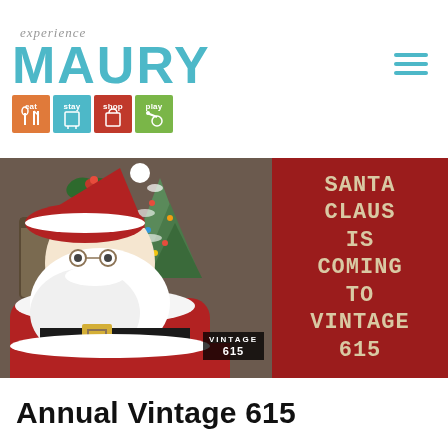[Figure (logo): Experience Maury logo with eat, stay, shop, play colored icon boxes and hamburger menu icon]
[Figure (photo): Composite image: Santa Claus sitting in a red suit with white beard, decorated Christmas tree in background, Vintage 615 watermark. Red panel on right reads SANTA CLAUS IS COMING TO VINTAGE 615 in cream/tan monospace font.]
Annual Vintage 615